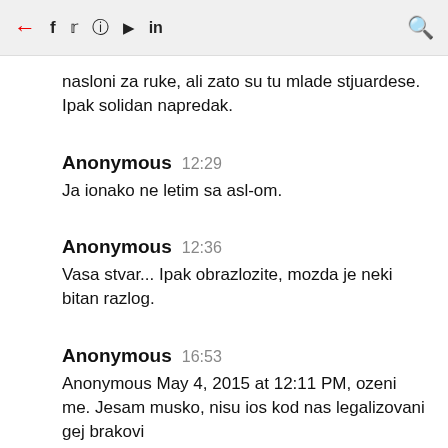← f tw instagram youtube in 🔍
nasloni za ruke, ali zato su tu mlade stjuardese. Ipak solidan napredak.
Anonymous  12:29
Ja ionako ne letim sa asl-om.
Anonymous  12:36
Vasa stvar... Ipak obrazlozite, mozda je neki bitan razlog.
Anonymous  16:53
Anonymous May 4, 2015 at 12:11 PM, ozeni me. Jesam musko, nisu ios kod nas legalizovani gej brakovi